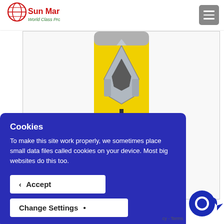[Figure (logo): Sun Mark World Class Products logo with red globe/grid icon and red/green text]
[Figure (photo): Warrior Energy Drink can, yellow with silver Spartan helmet graphic and cross symbol]
Cookies
To make this site work properly, we sometimes place small data files called cookies on your device. Most big websites do this too.
Accept
Change Settings